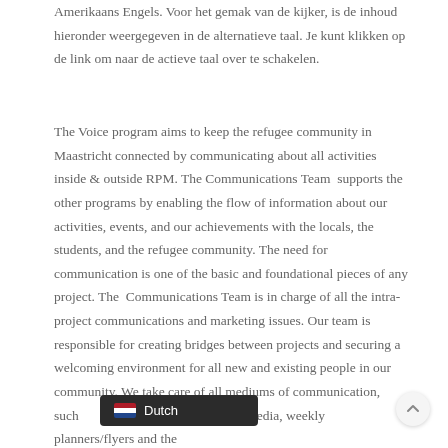Amerikaans Engels. Voor het gemak van de kijker, is de inhoud hieronder weergegeven in de alternatieve taal. Je kunt klikken op de link om naar de actieve taal over te schakelen.
The Voice program aims to keep the refugee community in Maastricht connected by communicating about all activities inside & outside RPM. The Communications Team  supports the other programs by enabling the flow of information about our activities, events, and our achievements with the locals, the students, and the refugee community. The need for communication is one of the basic and foundational pieces of any project. The  Communications Team is in charge of all the intra-project communications and marketing issues. Our team is responsible for creating bridges between projects and securing a welcoming environment for all new and existing people in our community. We take care of all mediums of communication, such as Social Media, weekly planners/flyers and the